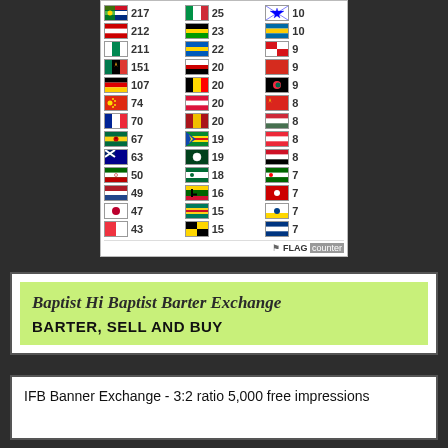[Figure (table-as-image): Flag counter widget showing countries with visit counts in 3 columns. Left column: Australia 217, Russia 212, Nigeria 211, South Africa 151, Germany 107, Hong Kong 74, France 70, Ghana 67, New Zealand 63, Kenya 50, Netherlands 49, Japan 47, Singapore 43. Middle column: Italy 25, Jamaica 23, Ukraine 22, UAE 20, Belgium 20, Poland 20, Spain 20, Ethiopia 19, Pakistan 19, Saudi Arabia 18, Zimbabwe 16, Cameroon 15, Belgium 15. Right column: Israel 10, Sweden 10, Czech 9, (red) 9, Bangladesh 9, Vietnam 8, Hungary 8, Austria 8, Egypt 8, Portugal 7, (country) 7, (country) 7, Finland 7.]
[Figure (infographic): Baptist Hi Baptist Barter Exchange banner ad with green background. Title in gothic font: 'Baptist Hi Baptist Barter Exchange'. Subtitle in bold: 'BARTER, SELL AND BUY']
IFB Banner Exchange - 3:2 ratio 5,000 free impressions